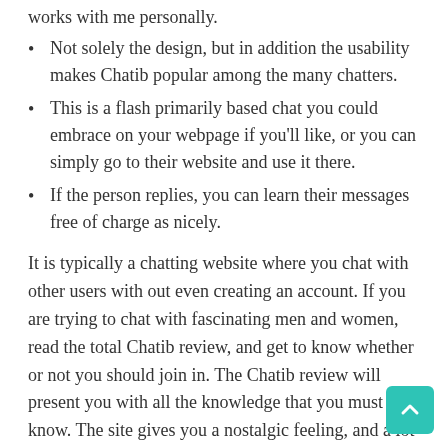Not solely the design, but in addition the usability makes Chatib popular among the many chatters.
This is a flash primarily based chat you could embrace on your webpage if you'll like, or you can simply go to their website and use it there.
If the person replies, you can learn their messages free of charge as nicely.
It is typically a chatting website where you chat with other users with out even creating an account. If you are trying to chat with fascinating men and women, read the total Chatib review, and get to know whether or not you should join in. The Chatib review will present you with all the knowledge that you must know. The site gives you a nostalgic feeling, and a lot of the chat rooms look identical to these you used to join method back in the 90s. You can chat with somebody in personal, else, if you'd like, you can all times be a part of the chatrooms out there on the location.